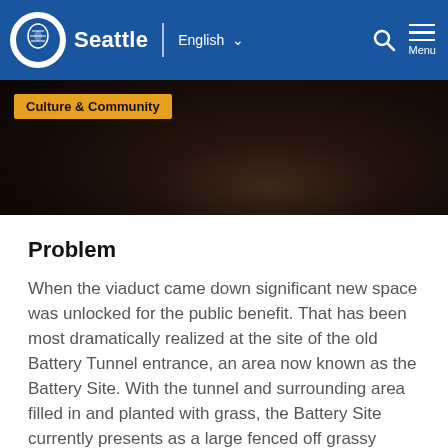Seattle | English  Menu
[Figure (photo): Dark overhead photo of multiple hands touching or holding something together, with a 'Culture & Community' tag overlaid in the top-left corner.]
Problem
When the viaduct came down significant new space was unlocked for the public benefit. That has been most dramatically realized at the site of the old Battery Tunnel entrance, an area now known as the Battery Site. With the tunnel and surrounding area filled in and planted with grass, the Battery Site currently presents as a large fenced off grassy slope in the middle of